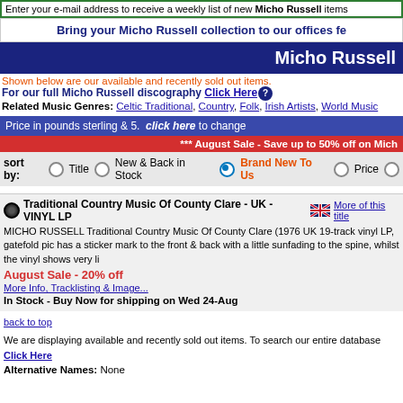Enter your e-mail address to receive a weekly list of new Micho Russell items
Bring your Micho Russell collection to our offices fe
Micho Russell
Shown below are our available and recently sold out items.
For our full Micho Russell discography Click Here
Related Music Genres: Celtic Traditional, Country, Folk, Irish Artists, World Music
Price in pounds sterling & 5. click here to change
*** August Sale - Save up to 50% off on Mich
sort by: Title   New & Back in Stock   Brand New To Us   Price
Traditional Country Music Of County Clare - UK - VINYL LP   More of this title
MICHO RUSSELL Traditional Country Music Of County Clare (1976 UK 19-track vinyl LP, gatefold pic has a sticker mark to the front & back with a little sunfading to the spine, whilst the vinyl shows very li
August Sale - 20% off
More Info, Tracklisting & Image...
In Stock - Buy Now for shipping on Wed 24-Aug
back to top
We are displaying available and recently sold out items. To search our entire database Click Here
Alternative Names: None